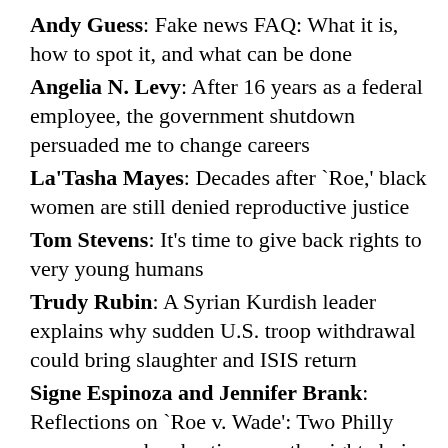Andy Guess: Fake news FAQ: What it is, how to spot it, and what can be done
Angelia N. Levy: After 16 years as a federal employee, the government shutdown persuaded me to change careers
La'Tasha Mayes: Decades after `Roe,' black women are still denied reproductive justice
Tom Stevens: It's time to give back rights to very young humans
Trudy Rubin: A Syrian Kurdish leader explains why sudden U.S. troop withdrawal could bring slaughter and ISIS return
Signe Espinoza and Jennifer Brank: Reflections on `Roe v. Wade': Two Philly women on why abortion was the right choice for them
Will Bunch: The huge problem with Mueller's Trump-Russia probe that no one talks about